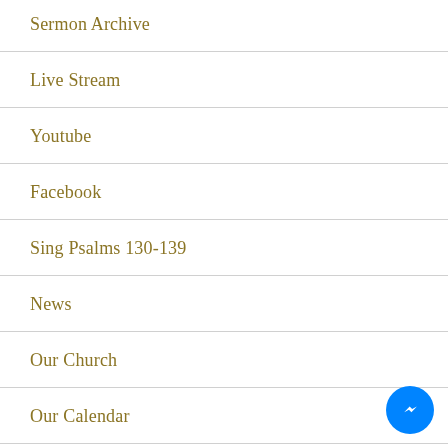Sermon Archive
Live Stream
Youtube
Facebook
Sing Psalms 130-139
News
Our Church
Our Calendar
[Figure (illustration): Blue circular Messenger chat button with lightning bolt icon, positioned bottom-right corner]